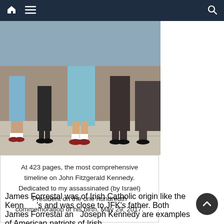Navigation bar with home, menu, and search icons
[Figure (photo): Cropped photo showing the lower legs and feet of several people standing on a sidewalk. Some wear light blue skirts/dresses, others wear dark trousers. Shoes include red/brown loafers and dark heels.]
At 423 pages, the most comprehensive timeline on John Fitzgerald Kennedy. Dedicated to my assassinated (by Israel) President on the one hundredth commemoration of his birth, May 29, 2017.
James Forrestal was of Irish Catholic origin like the Kennedy's and was close to JFK's father. Both James Forrestal and Joseph Kennedy are examples of American patriots of Irish